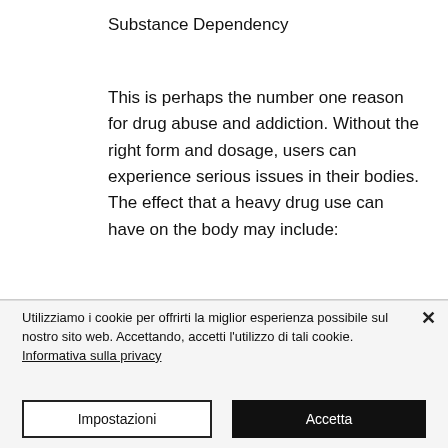Substance Dependency
This is perhaps the number one reason for drug abuse and addiction. Without the right form and dosage, users can experience serious issues in their bodies. The effect that a heavy drug use can have on the body may include:
Heart problems
Depression
Utilizziamo i cookie per offrirti la miglior esperienza possibile sul nostro sito web. Accettando, accetti l'utilizzo di tali cookie. Informativa sulla privacy
Impostazioni
Accetta